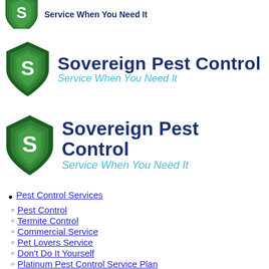[Figure (logo): Sovereign Pest Control logo (partial, top): green shield with S, text 'Sovereign Pest Control' in dark blue, tagline 'Service When You Need It' in light blue italic]
[Figure (logo): Sovereign Pest Control logo (middle): green shield with S, text 'Sovereign Pest Control' in dark blue, tagline 'Service When You Need It' in light blue italic]
[Figure (logo): Sovereign Pest Control logo (bottom): green shield with S, text 'Sovereign Pest Control' in dark blue, tagline 'Service When You Need It' in light blue italic]
Pest Control Services
Pest Control
Termite Control
Commercial Service
Pet Lovers Service
Don't Do It Yourself
Platinum Pest Control Service Plan
Specialty Services
Yard Service
Fly Prevention
Mosquito Control
Bee Nest Removal
Exterior Treatment